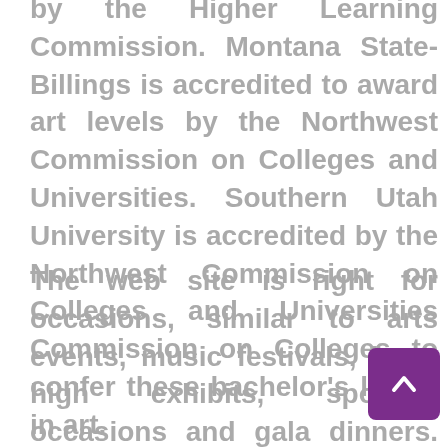by the Higher Learning Commission. Montana State-Billings is accredited to award art levels by the Northwest Commission on Colleges and Universities. Southern Utah University is accredited by the Northwest Commission on Colleges and Universities Commission on Colleges to confer these bachelor's levels in art.
The web site is right for occasions, similar to arts events, music festivals, huge high exhibits, sporting occasions and gala dinners. STB works with a various range of partners, from finest-in-class companies to rising enterprises, catalysing business innovation and high